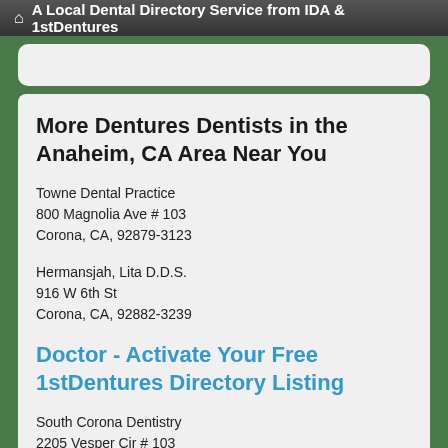A Local Dental Directory Service from IDA & 1stDentures
More Dentures Dentists in the Anaheim, CA Area Near You
Towne Dental Practice
800 Magnolia Ave # 103
Corona, CA, 92879-3123
Hermansjah, Lita D.D.S.
916 W 6th St
Corona, CA, 92882-3239
Doctor - Activate Your Free 1stDentures Directory Listing
South Corona Dentistry
2205 Vesper Cir # 103
Corona, CA, 92879-3501